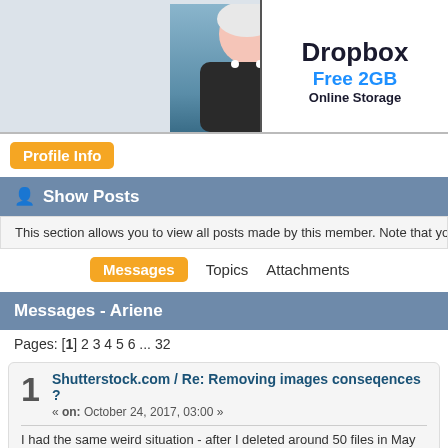[Figure (screenshot): Banner area with profile photo and Dropbox advertisement banner showing 'Free 2GB Online Storage']
Profile Info
Show Posts
This section allows you to view all posts made by this member. Note that you can o
Messages  Topics  Attachments
Messages - Ariene
Pages: [1] 2 3 4 5 6 ... 32
1
Shutterstock.com / Re: Removing images conseqences ?
« on: October 24, 2017, 03:00 »
I had the same weird situation - after I deleted around 50 files in May my s maybe not...
2
New Sites - General / Re: 500px distributors